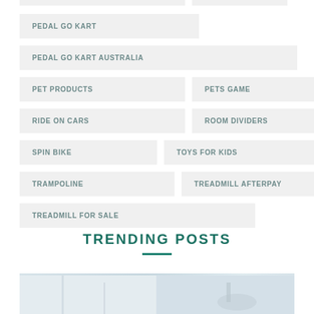PEDAL GO KART
PEDAL GO KART AUSTRALIA
PET PRODUCTS
PETS GAME
RIDE ON CARS
ROOM DIVIDERS
SPIN BIKE
TOYS FOR KIDS
TRAMPOLINE
TREADMILL AFTERPAY
TREADMILL FOR SALE
TRENDING POSTS
[Figure (photo): Partial view of a room with fitness or home equipment, light purple/white color tones]